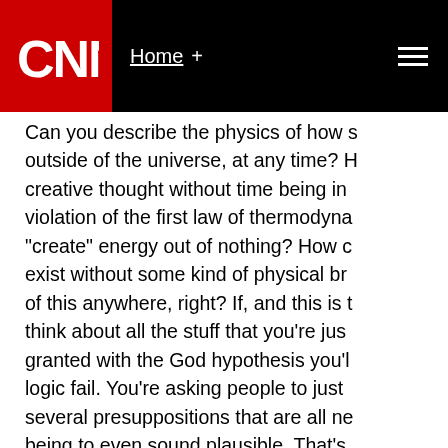CNN | Home +
Can you describe the physics of how someone exists outside of the universe, at any time? How can creative thought without time being in existence is a violation of the first law of thermodynamics to "create" energy out of nothing? How can thought exist without some kind of physical brain? We know of this anywhere, right? If, and this is to think about all the stuff that you're just taking granted with the God hypothesis you'll logic fail. You're asking people to just several presuppositions that are all ne being to even sound plausible. That's mystery. You can just as easily assert created the universe a similar way.
Doesn't it take even more "pride" to a despite the lack of evidence than my s don't know the answers to certain thi absolutely sure that you're right, and